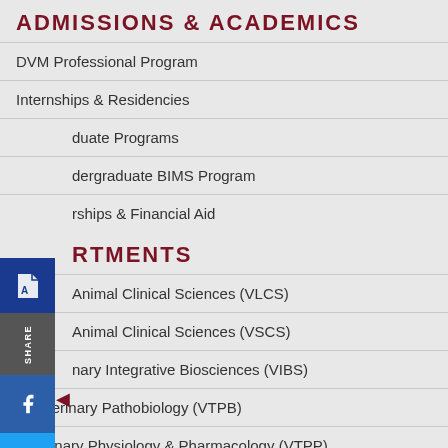ADMISSIONS & ACADEMICS
DVM Professional Program
Internships & Residencies
Graduate Programs
Undergraduate BIMS Program
Scholarships & Financial Aid
DEPARTMENTS
Large Animal Clinical Sciences (VLCS)
Small Animal Clinical Sciences (VSCS)
Veterinary Integrative Biosciences (VIBS)
Veterinary Pathobiology (VTPB)
Veterinary Physiology & Pharmacology (VTPP)
ABOUT